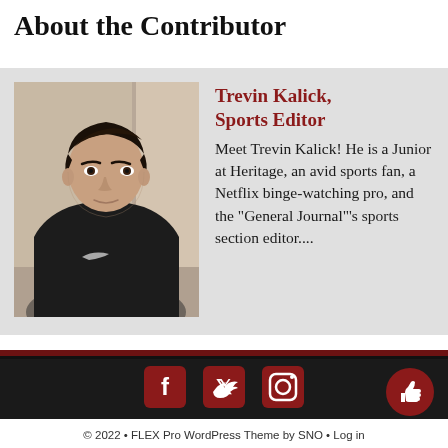About the Contributor
[Figure (photo): Portrait photo of Trevin Kalick, a young man with dark hair wearing a dark Nike hoodie, photographed indoors]
Trevin Kalick, Sports Editor
Meet Trevin Kalick! He is a Junior at Heritage, an avid sports fan, a Netflix binge-watching pro, and the "General Journal"'s sports section editor....
[Figure (infographic): Footer with Facebook, Twitter, and Instagram social media icons on dark background]
© 2022 • FLEX Pro WordPress Theme by SNO • Log in